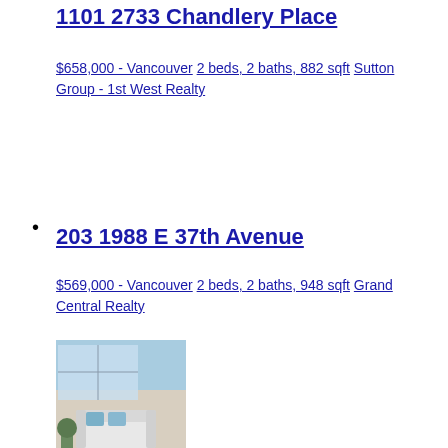1101 2733 Chandlery Place
$658,000 - Vancouver
2 beds, 2 baths, 882 sqft
Sutton Group - 1st West Realty
203 1988 E 37th Avenue
$569,000 - Vancouver
2 beds, 2 baths, 948 sqft
Grand Central Realty
[Figure (photo): Interior photo of a living room with white sofa, blue accent pillows, large windows, and a round blue patterned rug]
502 388 Kootenay Street
$599,800 - Vancouver